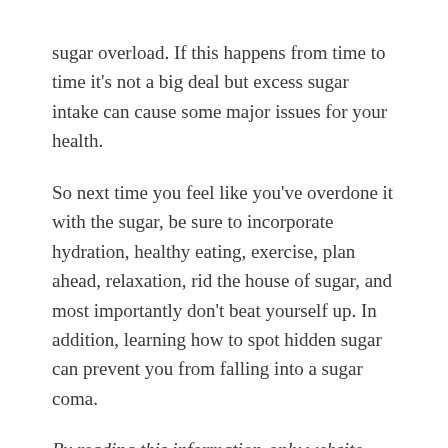sugar overload. If this happens from time to time it's not a big deal but excess sugar intake can cause some major issues for your health.
So next time you feel like you've overdone it with the sugar, be sure to incorporate hydration, healthy eating, exercise, plan ahead, relaxation, rid the house of sugar, and most importantly don't beat yourself up. In addition, learning how to spot hidden sugar can prevent you from falling into a sugar coma.
By reading this information-only website, you take full responsibility for what you choose to do with this website's information or outcomes. The information on this website has